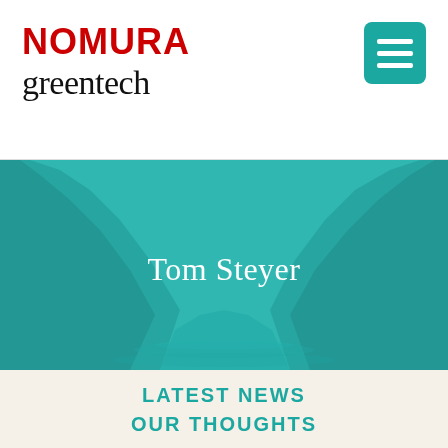NOMURA greentech
[Figure (photo): Landscape photo of a fjord or mountain lake with teal/blue-green water, rocky mountain cliffs on either side, overlaid with a teal color wash. Text 'Tom Steyer' appears centered over the image in white serif font.]
Tom Steyer
LATEST NEWS
OUR THOUGHTS